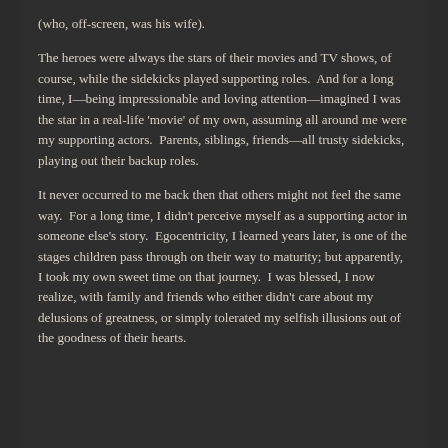(who, off-screen, was his wife).
The heroes were always the stars of their movies and TV shows, of course, while the sidekicks played supporting roles.  And for a long time, I—being impressionable and loving attention—imagined I was the star in a real-life 'movie' of my own, assuming all around me were my supporting actors.  Parents, siblings, friends—all trusty sidekicks, playing out their backup roles.
It never occurred to me back then that others might not feel the same way.  For a long time, I didn't perceive myself as a supporting actor in someone else's story.  Egocentricity, I learned years later, is one of the stages children pass through on their way to maturity; but apparently, I took my own sweet time on that journey.  I was blessed, I now realize, with family and friends who either didn't care about my delusions of greatness, or simply tolerated my selfish illusions out of the goodness of their hearts.